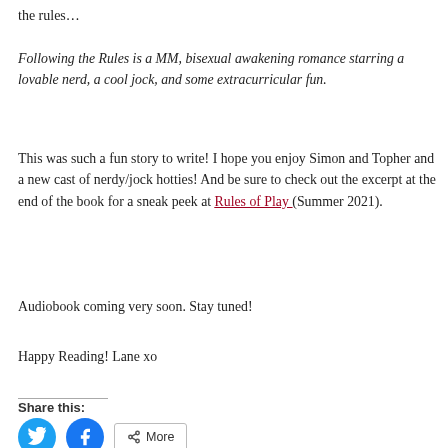the rules…
Following the Rules is a MM, bisexual awakening romance starring a lovable nerd, a cool jock, and some extracurricular fun.
This was such a fun story to write! I hope you enjoy Simon and Topher and a new cast of nerdy/jock hotties! And be sure to check out the excerpt at the end of the book for a sneak peek at Rules of Play (Summer 2021).
Audiobook coming very soon. Stay tuned!
Happy Reading! Lane xo
Share this: